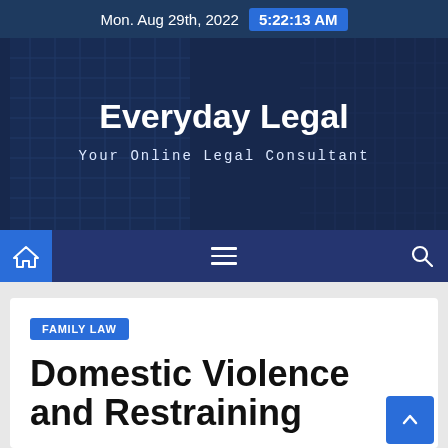Mon. Aug 29th, 2022  5:22:13 AM
[Figure (screenshot): Website header banner with tall glass building photograph overlay and 'Everyday Legal' site title with 'Your Online Legal Consultant' tagline]
Everyday Legal
Your Online Legal Consultant
FAMILY LAW
Domestic Violence and Restraining